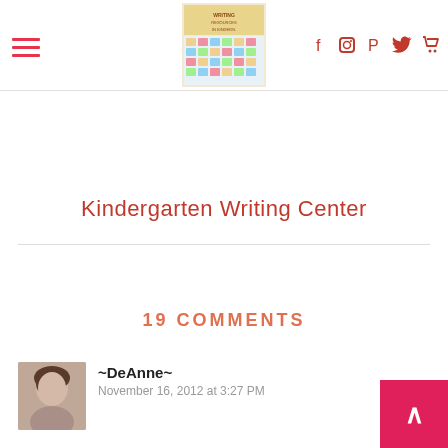Navigation header with hamburger menu, logo image (Kindergarten Writing Center), and social icons (Facebook, Instagram, Pinterest, Twitter, Cart)
Kindergarten Writing Center
19 COMMENTS
~DeAnne~
November 16, 2012 at 3:27 PM
This brought back memories. I remember working at a very rural school (small class size) and we a Thanksgiving dinner much like this. I made the